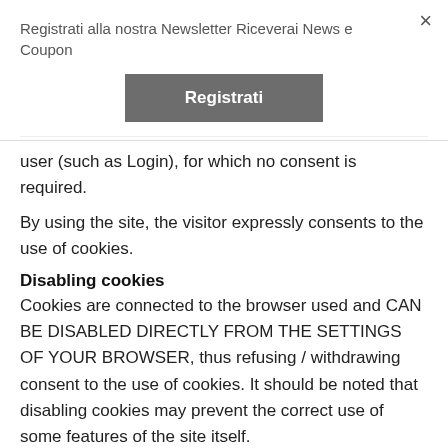Registrati alla nostra Newsletter Riceverai News e Coupon
×
Registrati
user (such as Login), for which no consent is required.
By using the site, the visitor expressly consents to the use of cookies.
Disabling cookies
Cookies are connected to the browser used and CAN BE DISABLED DIRECTLY FROM THE SETTINGS OF YOUR BROWSER, thus refusing / withdrawing consent to the use of cookies. It should be noted that disabling cookies may prevent the correct use of some features of the site itself.
Third-party cookies
This site also acts as an intermediary for third-party